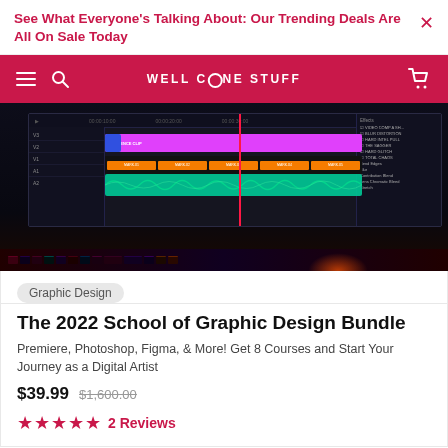See What Everyone's Talking About: Our Trending Deals Are All On Sale Today
[Figure (screenshot): Navigation bar with hamburger menu, search icon, WELL DONE STUFF logo, and cart icon on a dark pink/crimson background]
[Figure (screenshot): Video editing software (likely Adobe Premiere) timeline screenshot showing pink, orange-segmented, and green audio/video tracks on a dark background, with a right panel showing effects and a keyboard visible at the bottom]
Graphic Design
The 2022 School of Graphic Design Bundle
Premiere, Photoshop, Figma, & More! Get 8 Courses and Start Your Journey as a Digital Artist
$39.99  $1,600.00
★★★★★  2 Reviews